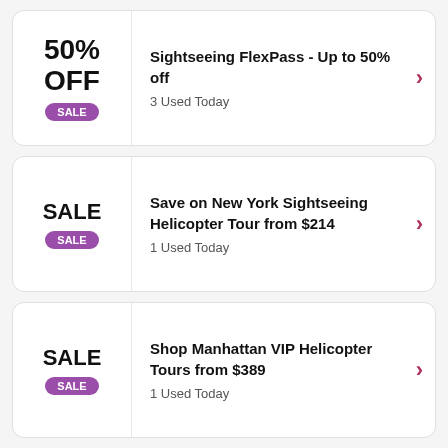50% OFF SALE — Sightseeing FlexPass - Up to 50% off — 3 Used Today
SALE — Save on New York Sightseeing Helicopter Tour from $214 — 1 Used Today
SALE — Shop Manhattan VIP Helicopter Tours from $389 — 1 Used Today